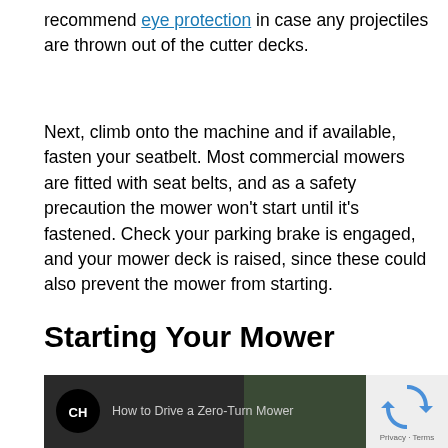recommend eye protection in case any projectiles are thrown out of the cutter decks.
Next, climb onto the machine and if available, fasten your seatbelt. Most commercial mowers are fitted with seat belts, and as a safety precaution the mower won't start until it's fastened. Check your parking brake is engaged, and your mower deck is raised, since these could also prevent the mower from starting.
Starting Your Mower
[Figure (screenshot): Video thumbnail showing 'How to Drive a Zero-Turn Mower' with a CH (channel) logo circle and a person on a mower in the background. A reCAPTCHA privacy badge appears in the top right corner.]